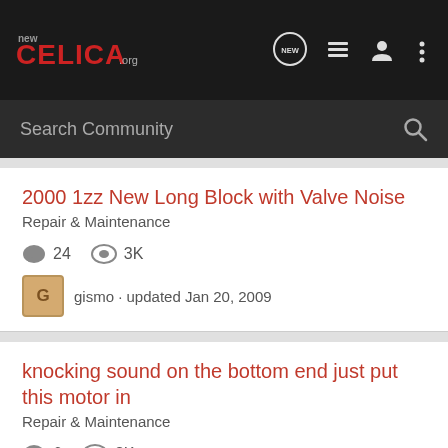NewCelica.org — Navigation bar with logo, NEW, list, profile, and menu icons
Search Community
2000 1zz New Long Block with Valve Noise
Repair & Maintenance
24  3K
gismo · updated Jan 20, 2009
knocking sound on the bottom end just put this motor in
Repair & Maintenance
6  3K
FrostsCelicaGTS · updated Jul 24, 2010